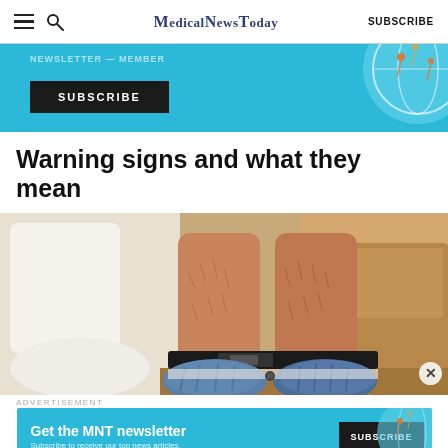MedicalNewsToday | SUBSCRIBE
[Figure (screenshot): Advertisement banner with cyan/teal background, Subscribe button in black, and decorative circular globe element on right]
Warning signs and what they mean
[Figure (photo): Photo of a person sitting on a toilet, showing their legs and jeans pulled down around their ankles]
ADVERTISEMENT
[Figure (screenshot): MNT newsletter advertisement banner with cyan background, Get the MNT newsletter text, Subscribe button in black, and decorative globe element]